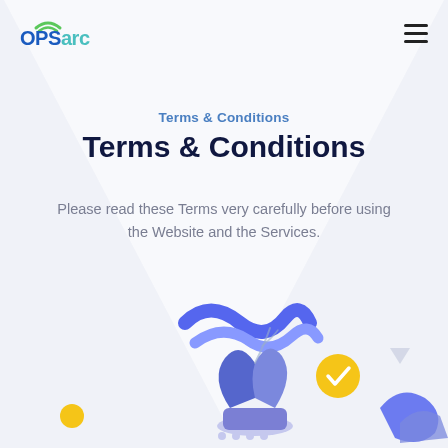OPSarc [logo] [hamburger menu]
Terms & Conditions
Terms & Conditions
Please read these Terms very carefully before using the Website and the Services.
[Figure (illustration): Decorative illustration showing a plant/leaf with blue wave shapes, a yellow dot, a yellow checkmark circle, a grey triangle, and blue abstract shapes at the bottom right, on a light lavender background.]